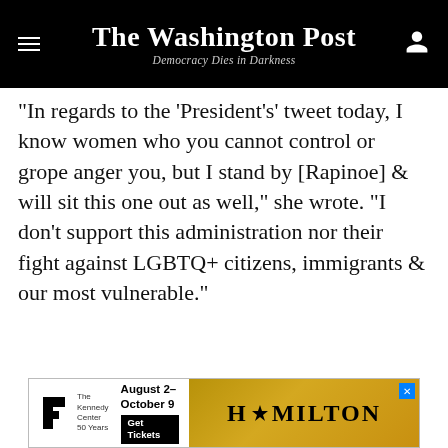The Washington Post — Democracy Dies in Darkness
“In regards to the ‘President’s’ tweet today, I know women who you cannot control or grope anger you, but I stand by [Rapinoe] & will sit this one out as well," she wrote. "I don’t support this administration nor their fight against LGBTQ+ citizens, immigrants & our most vulnerable.”
[Figure (other): Advertisement banner for The Kennedy Center Hamilton show, August 2 - October 9, Get Tickets, with Hamilton logo on gold background]